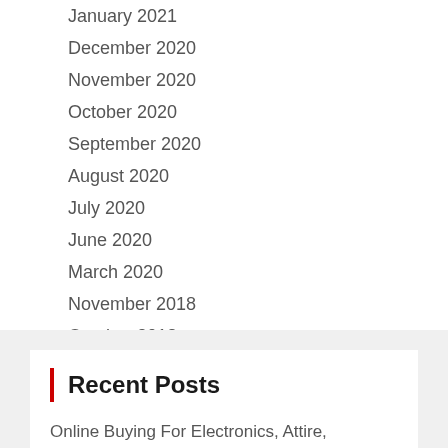January 2021
December 2020
November 2020
October 2020
September 2020
August 2020
July 2020
June 2020
March 2020
November 2018
October 2018
January 2017
Recent Posts
Online Buying For Electronics, Attire, Computer systems, Books, DVDs & More